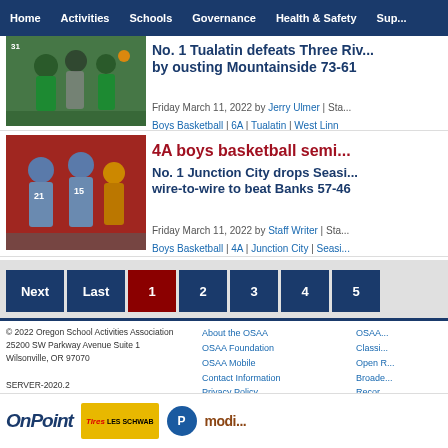Home | Activities | Schools | Governance | Health & Safety | Sup...
No. 1 Tualatin defeats Three Riv... by ousting Mountainside 73-61
Friday March 11, 2022 by Jerry Ulmer | Sta... Boys Basketball | 6A | Tualatin | West Linn
4A boys basketball semi...
No. 1 Junction City drops Seasi... wire-to-wire to beat Banks 57-40
Friday March 11, 2022 by Staff Writer | Sta... Boys Basketball | 4A | Junction City | Seasi...
Next | Last | 1 | 2 | 3 | 4 | 5
© 2022 Oregon School Activities Association
25200 SW Parkway Avenue Suite 1
Wilsonville, OR 97070
SERVER-2020.2
About the OSAA | OSAA Foundation | OSAA Mobile | Contact Information | Privacy Policy | OSAA... | Classi... | Open R... | Broade... | Recor...